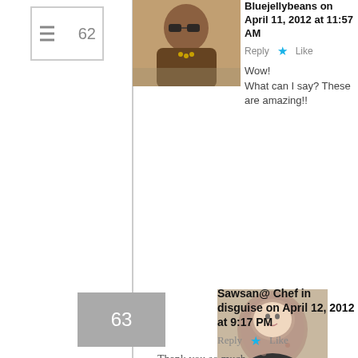≡ 62
[Figure (photo): Avatar of Bluejellybeans - woman wearing sunglasses outdoors]
Bluejellybeans on April 11, 2012 at 11:57 AM   Reply  ★ Like
Wow!
What can I say? These are amazing!!
63
[Figure (photo): Avatar of Sawsan - woman wearing hijab, smiling]
Sawsan@ Chef in disguise on April 12, 2012 at 9:17 PM   Reply  ★ Like
Thank you so much
[Figure (photo): Avatar placeholder - broken image icon]
64
Asmita (@FoodieAsmita) on April 11, 2012 at 12:42 PM   Reply  ★ Lik
Advertisements
[Figure (screenshot): Seamless food delivery advertisement banner - pizza image on left, seamless logo in red, ORDER NOW button on right]